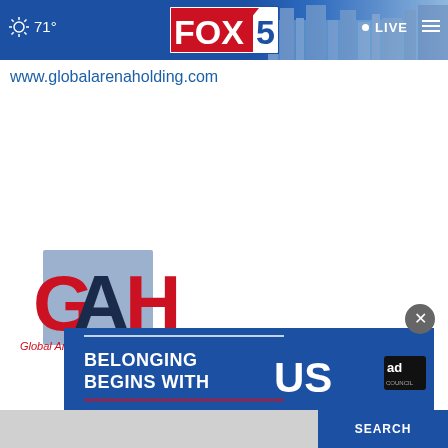FOX 5 | 71° | LIVE
www.globalarenaholding.com
[Figure (logo): Global Arena Holding Inc. (GAH) logo with red and dark blue letters on a blue-grey square background, with text 'Global Arena Holding, Inc.' below]
[Figure (infographic): Ad banner reading 'BELONGING BEGINS WITH US' with Ad Council branding on blue background]